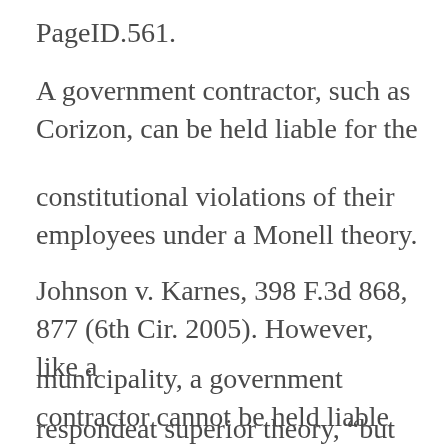PageID.561.
A government contractor, such as Corizon, can be held liable for the
constitutional violations of their employees under a Monell theory.
Johnson v. Karnes, 398 F.3d 868, 877 (6th Cir. 2005). However, like a
municipality, a government contractor cannot be held liable on a
respondeat superior theory, “but may be held liable for a di…